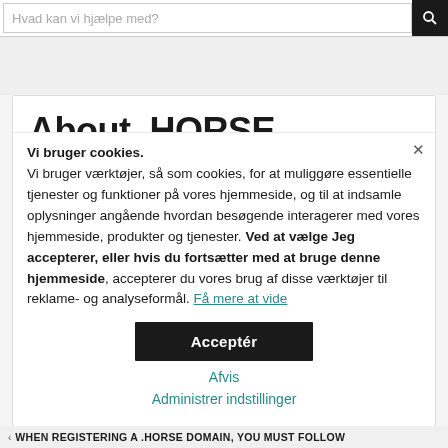Hvad kan vi hjælpe med?
About .HORSE domains
Vi bruger cookies.
Vi bruger værktøjer, så som cookies, for at muliggøre essentielle tjenester og funktioner på vores hjemmeside, og til at indsamle oplysninger angående hvordan besøgende interagerer med vores hjemmeside, produkter og tjenester. Ved at vælge Jeg accepterer, eller hvis du fortsætter med at bruge denne hjemmeside, accepterer du vores brug af disse værktøjer til reklame- og analyseformål. Få mere at vide
Acceptér
Afvis
Administrer indstillinger
when registering a .HORSE domain, you must follow